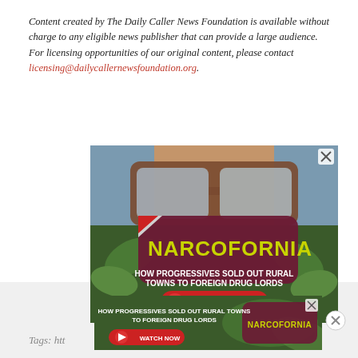Content created by The Daily Caller News Foundation is available without charge to any eligible news publisher that can provide a large audience. For licensing opportunities of our original content, please contact licensing@dailycallernewsfoundation.org.
[Figure (photo): Advertisement image for 'Narcofornia' documentary with text 'HOW PROGRESSIVES SOLD OUT RURAL TOWNS TO FOREIGN DRUG LORDS' and a WATCH NOW button. Shows a close-up of sunglasses with cannabis leaves.]
[Figure (photo): Smaller secondary advertisement for the same 'Narcofornia' documentary with WATCH NOW button.]
Tags: htt